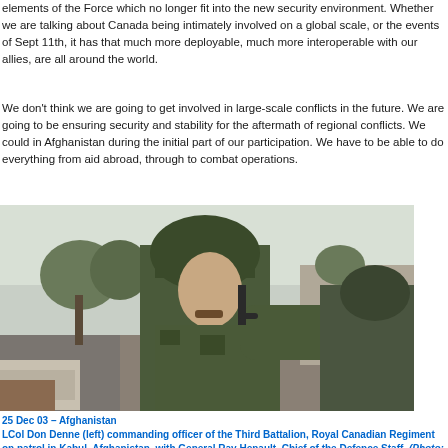elements of the Force which no longer fit into the new security environment. Whether we are talking about Canada being intimately involved on a global scale, or the events of Sept 11th, it has made the Canadian Forces that much more deployable, much more interoperable with our allies, and better able to respond to threats that are all around the world.
We don't think we are going to get involved in large-scale conflicts in the future. We are going to be ensuring security and stability for the aftermath of regional conflicts. We could be doing peacekeeping, as we did in Afghanistan during the initial part of our participation. We have to be able to do everything from aid abroad, through to combat operations.
[Figure (photo): Military soldiers in camouflage and helmets on patrol in Kabul, Afghanistan. A soldier in the center is gesturing/pointing with a gloved hand. Photo taken 25 Dec 03.]
25 Dec 03 – Afghanistan
LCol Don Denne (left) commanding officer of the Third Battalion, Royal Canadian Regiment on patrol in Kabul, Afghanistan, with General Ray Henault, Chief of the Defence Staff. (Photo: